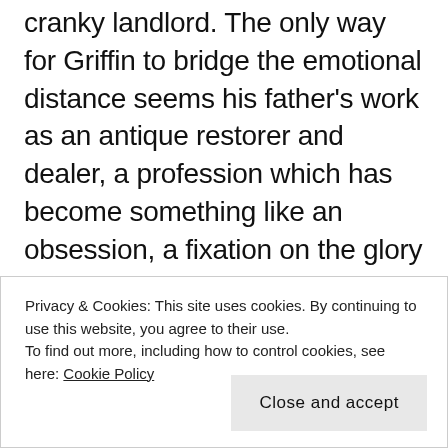cranky landlord. The only way for Griffin to bridge the emotional distance seems his father's work as an antique restorer and dealer, a profession which has become something like an obsession, a fixation on the glory of the city's past.
In turns quirky and cunning, naïve and knowing, achingly sad and subtly comic Gill conjures visuals that will fill your mind and family drama that will haunt you, a combination that leaves you longing
Privacy & Cookies: This site uses cookies. By continuing to use this website, you agree to their use. To find out more, including how to control cookies, see here: Cookie Policy
Close and accept